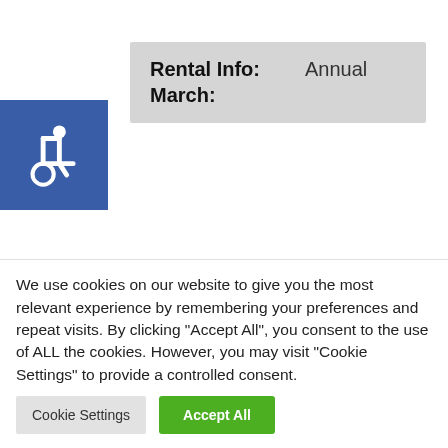[Figure (illustration): Blue square with white wheelchair accessibility icon]
| Rental Info: | Annual |
| March: |  |
| Rental Info: | Annual |
| April: |  |
| Rental Info: | Annual |
We use cookies on our website to give you the most relevant experience by remembering your preferences and repeat visits. By clicking "Accept All", you consent to the use of ALL the cookies. However, you may visit "Cookie Settings" to provide a controlled consent.
Cookie Settings
Accept All